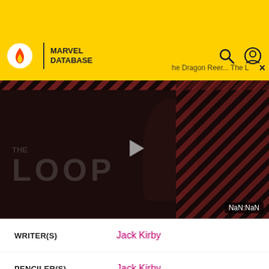[Figure (screenshot): Yellow advertisement banner at top of Fandom page]
Fandom | MARVEL DATABASE
[Figure (screenshot): Video player showing 'THE LOOP' with dark background, play button, striped overlay, and NaN:NaN timestamp badge]
| Role | Name |
| --- | --- |
| WRITER(S) | Jack Kirby |
| PENCILER(S) | Jack Kirby |
| INKER(S) | Chic Stone |